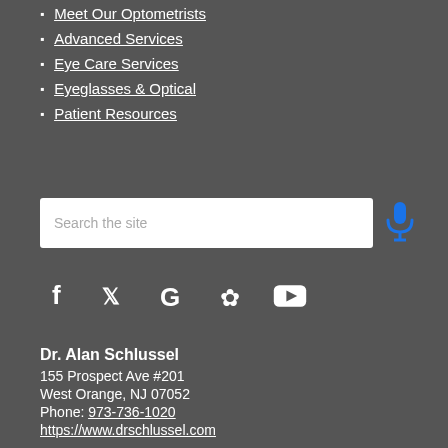Meet Our Optometrists
Advanced Services
Eye Care Services
Eyeglasses & Optical
Patient Resources
[Figure (other): Search bar with text 'Search the site' and a blue microphone icon to the right]
[Figure (infographic): Social media icons: Facebook (f), Twitter (bird), Google (G), Yelp (flower), YouTube (play button)]
Dr. Alan Schlussel
155 Prospect Ave #201
West Orange, NJ 07052
Phone: 973-736-1020
https://www.drschlussel.com